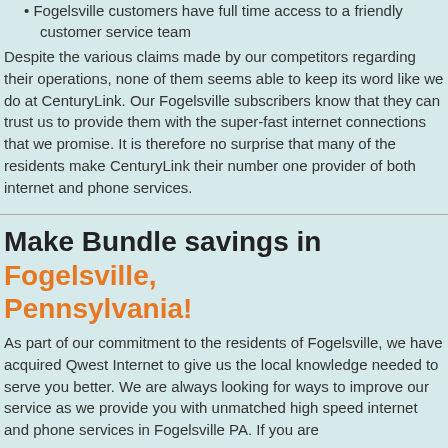Fogelsville customers have full time access to a friendly customer service team
Despite the various claims made by our competitors regarding their operations, none of them seems able to keep its word like we do at CenturyLink. Our Fogelsville subscribers know that they can trust us to provide them with the super-fast internet connections that we promise. It is therefore no surprise that many of the residents make CenturyLink their number one provider of both internet and phone services.
Make Bundle savings in Fogelsville, Pennsylvania!
As part of our commitment to the residents of Fogelsville, we have acquired Qwest Internet to give us the local knowledge needed to serve you better. We are always looking for ways to improve our service as we provide you with unmatched high speed internet and phone services in Fogelsville PA. If you are